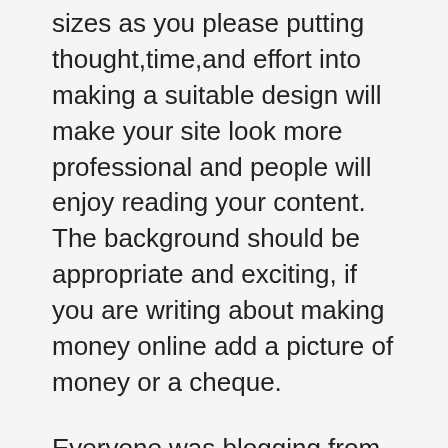sizes as you please putting thought,time,and effort into making a suitable design will make your site look more professional and people will enjoy reading your content. The background should be appropriate and exciting, if you are writing about making money online add a picture of money or a cheque.
Everyone was blogging from political parties to small business. Many people saw blogging as a way to express their views on the war in Iraq as well as other political matters that were troubling them. blogs became a new informant for media coverage as well as other topics like celebrity news.
I committed to doing all these things, but in the meaintime, what about my website and the products that I was trying to sell, the money I was